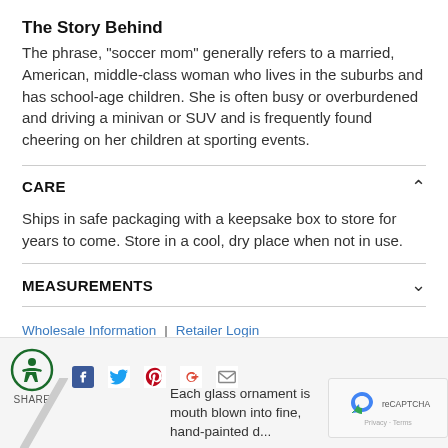The Story Behind
The phrase, "soccer mom" generally refers to a married, American, middle-class woman who lives in the suburbs and has school-age children. She is often busy or overburdened and driving a minivan or SUV and is frequently found cheering on her children at sporting events.
CARE
Ships in safe packaging with a keepsake box to store for years to come. Store in a cool, dry place when not in use.
MEASUREMENTS
Wholesale Information | Retailer Login
Each glass ornament is mouth blown into fine, hand-painted d...